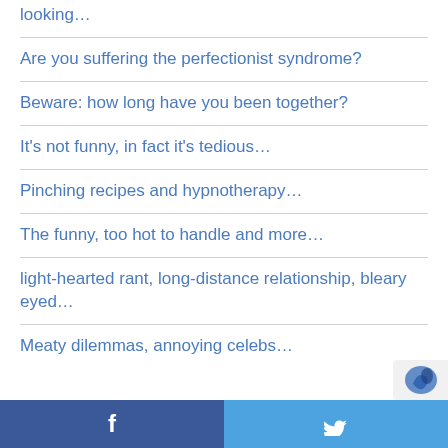looking…
Are you suffering the perfectionist syndrome?
Beware: how long have you been together?
It's not funny, in fact it's tedious…
Pinching recipes and hypnotherapy…
The funny, too hot to handle and more…
light-hearted rant, long-distance relationship, bleary eyed…
Meaty dilemmas, annoying celebs…
Facebook  Twitter